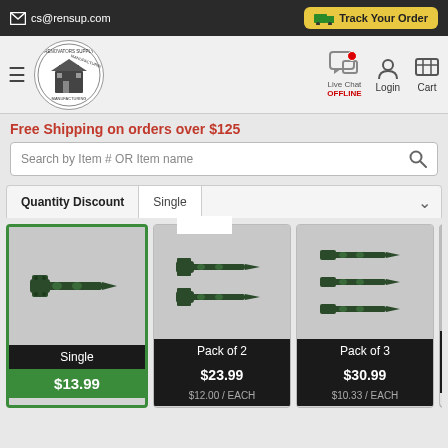cs@rensup.com | Track Your Order
[Figure (logo): Renovators Supply Manufacturing circular logo with building illustration]
Live Chat OFFLINE | Login | Cart
Free Shipping on orders over $125
Search by Item # OR Item name
| Quantity Discount | Single |
| --- | --- |
[Figure (photo): Single decorative black iron strap hinge]
Single
$13.99
[Figure (photo): Pack of 2 decorative black iron strap hinges]
Pack of 2
$23.99
$12.00 / EACH
[Figure (photo): Pack of 3 decorative black iron strap hinges]
Pack of 3
$30.99
$10.33 / EACH